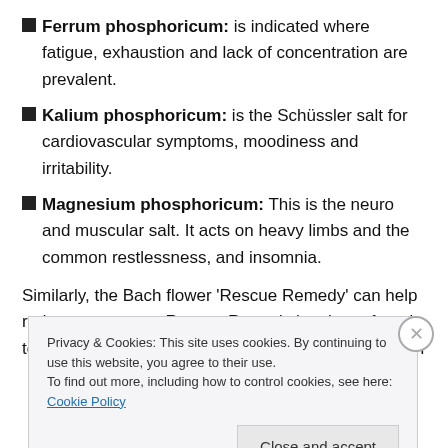Ferrum phosphoricum: is indicated where fatigue, exhaustion and lack of concentration are prevalent.
Kalium phosphoricum: is the Schüssler salt for cardiovascular symptoms, moodiness and irritability.
Magnesium phosphoricum: This is the neuro and muscular salt. It acts on heavy limbs and the common restlessness, and insomnia.
Similarly, the Bach flower 'Rescue Remedy' can help reduce symptoms. Rescue Remedy has been found to calm the organism. This can be taken as and when
Privacy & Cookies: This site uses cookies. By continuing to use this website, you agree to their use.
To find out more, including how to control cookies, see here: Cookie Policy
Close and accept